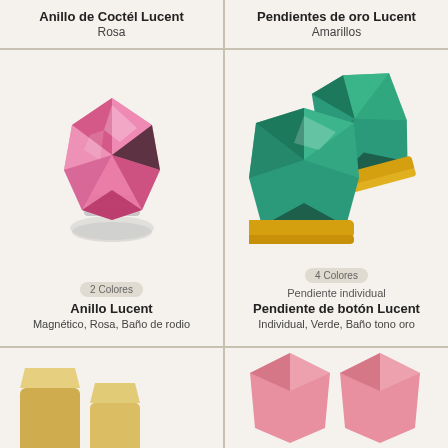Anillo de Coctél Lucent
Rosa
Pendientes de oro Lucent
Amarillos
[Figure (photo): Pink faceted crystal ring with silver band - Anillo Lucent]
2 Colores
Anillo Lucent
Magnético, Rosa, Baño de rodio
[Figure (photo): Green faceted crystal stud earrings with gold tone setting - Pendiente de botón Lucent]
4 Colores
Pendiente individual
Pendiente de botón Lucent
Individual, Verde, Baño tono oro
[Figure (photo): Bottom row left - partial product image]
[Figure (photo): Bottom row right - pink geometric earrings]